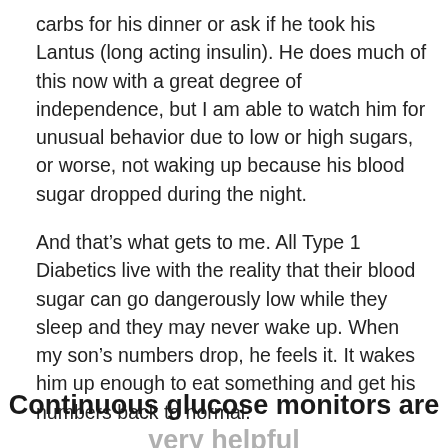carbs for his dinner or ask if he took his Lantus (long acting insulin). He does much of this now with a great degree of independence, but I am able to watch him for unusual behavior due to low or high sugars, or worse, not waking up because his blood sugar dropped during the night.
And that’s what gets to me. All Type 1 Diabetics live with the reality that their blood sugar can go dangerously low while they sleep and they may never wake up. When my son’s numbers drop, he feels it. It wakes him up enough to eat something and get his numbers back to normal.
Continuous glucose monitors are very helpful